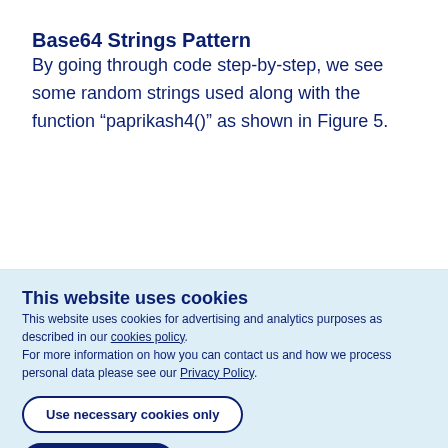Base64 Strings Pattern
By going through code step-by-step, we see some random strings used along with the function “paprikash4()” as shown in Figure 5.
This website uses cookies
This website uses cookies for advertising and analytics purposes as described in our cookies policy.
For more information on how you can contact us and how we process personal data please see our Privacy Policy.
Use necessary cookies only
Allow all cookies
Show details ∨